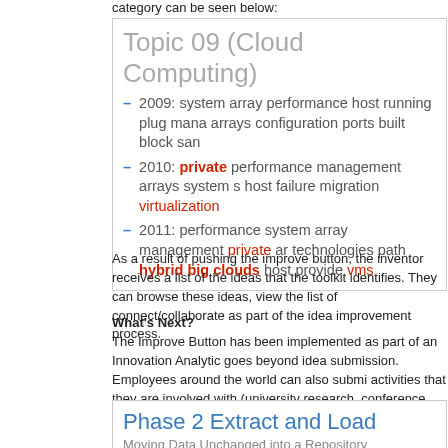category can be seen below:
Topic 09 (Cloud Computing)
2009: system array performance host running plug mana arrays configuration ports built block san
2010: private performance management arrays system s host failure migration virtualization
2011: performance system array management private ar technologies path hybrid big clouds host provide vms
As a result of pushing the improve button, the inventor receives a list of the ideas that the toolkit identifies. They can browse these ideas, view the list of connect/collaborate as part of the idea improvement process.
What's Next?
The Improve Button has been implemented as part of an Innovation Analytic goes beyond idea submission. Employees around the world can also submi activities that they are involved with (university research, conference attenda visits to start-up incubators, etc). The analytic sandbox (structured and unstr the approach of gathering innovation activities is depicted below.
Phase 2 Extract and Load
Moving Data Unchanged into a Repository
[Figure (illustration): Illustration showing data flow diagram with circular icons]